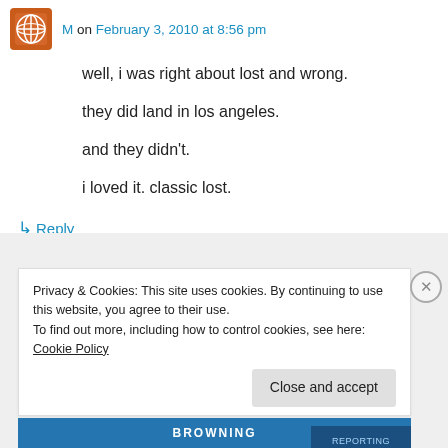M on February 3, 2010 at 8:56 pm
well, i was right about lost and wrong.
they did land in los angeles.
and they didn't.
i loved it. classic lost.
↳ Reply
Privacy & Cookies: This site uses cookies. By continuing to use this website, you agree to their use.
To find out more, including how to control cookies, see here: Cookie Policy
Close and accept